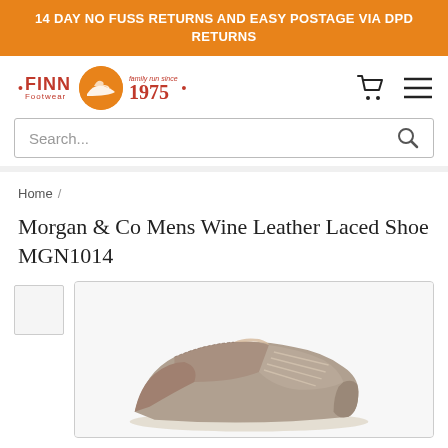14 DAY NO FUSS RETURNS AND EASY POSTAGE VIA DPD RETURNS
[Figure (logo): Finn Footwear logo with orange circle containing a shoe icon, text 'family run since 1975', shopping cart icon and hamburger menu icon]
Search...
Home /
Morgan & Co Mens Wine Leather Laced Shoe MGN1014
[Figure (photo): Wine/taupe coloured leather laced shoe (Morgan & Co MGN1014) photographed from the side showing the toe and lacing area against a light background]